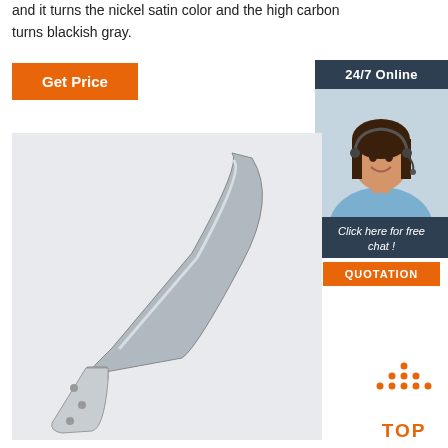and it turns the nickel satin color and the high carbon turns blackish gray.
[Figure (other): Orange 'Get Price' button]
[Figure (other): Sidebar with 24/7 Online support agent photo, 'Click here for free chat!' text, and orange QUOTATION button]
[Figure (photo): Photo of a satin-finish knife/straight razor on white background]
[Figure (other): Orange dotted triangle 'TOP' back-to-top button]